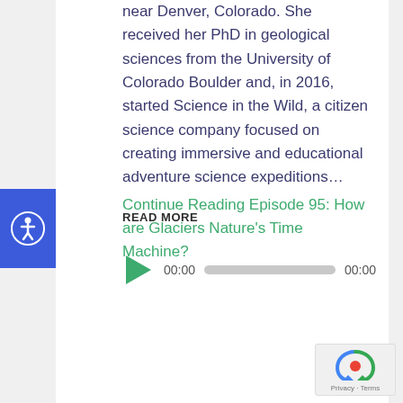near Denver, Colorado. She received her PhD in geological sciences from the University of Colorado Boulder and, in 2016, started Science in the Wild, a citizen science company focused on creating immersive and educational adventure science expeditions… Continue Reading Episode 95: How are Glaciers Nature's Time Machine?
READ MORE
[Figure (other): Audio player with play button, 00:00 time display, progress bar, and 00:00 end time]
[Figure (other): Accessibility icon button (blue background with person/wheelchair symbol)]
[Figure (other): reCAPTCHA badge with Privacy and Terms links]